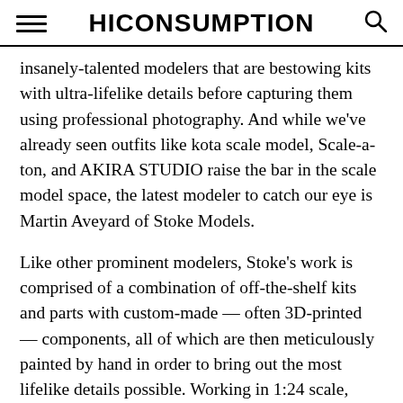HICONSUMPTION
insanely-talented modelers that are bestowing kits with ultra-lifelike details before capturing them using professional photography. And while we've already seen outfits like kota scale model, Scale-a-ton, and AKIRA STUDIO raise the bar in the scale model space, the latest modeler to catch our eye is Martin Aveyard of Stoke Models.
Like other prominent modelers, Stoke's work is comprised of a combination of off-the-shelf kits and parts with custom-made — often 3D-printed — components, all of which are then meticulously painted by hand in order to bring out the most lifelike details possible. Working in 1:24 scale, Stokes' builds have included everything from